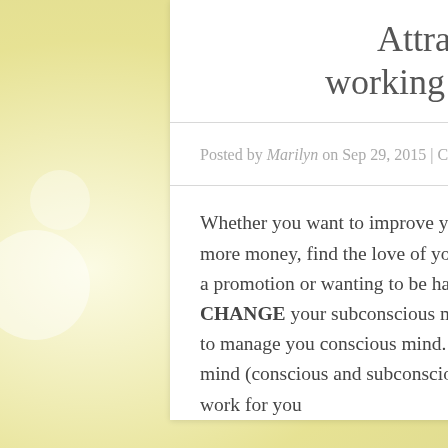Attraction working for you?
Posted by Marilyn on Sep 29, 2015 | Comments Off
Whether you want to improve your health, lose weight, have more money, find the love of your life, start a new business, get a promotion or wanting to be happy YOU HAVE TO CHANGE your subconscious mind's programming by learning to manage you conscious mind. When you don't work with your mind (conscious and subconscious) the Law of Attraction won't work for you